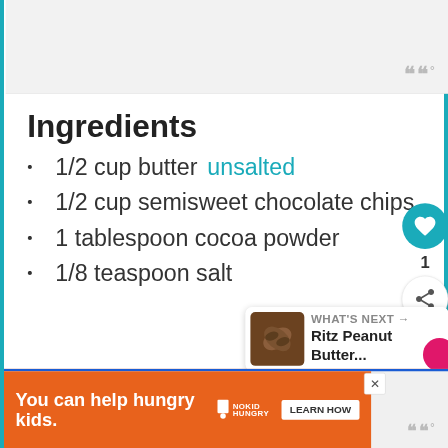[Figure (other): Light gray empty top area with watermark icon (three bars with degree symbol) in bottom right corner]
Ingredients
1/2 cup butter unsalted
1/2 cup semisweet chocolate chips
1 tablespoon cocoa powder
1/8 teaspoon salt
[Figure (other): Teal heart button with count 1, and share button below it]
[Figure (other): What's Next card with coffee beans image and text: Ritz Peanut Butter...]
[Figure (other): Orange banner advertisement: You can help hungry kids. No Kid Hungry logo. LEARN HOW button. Close X button. Bottom watermark icon.]